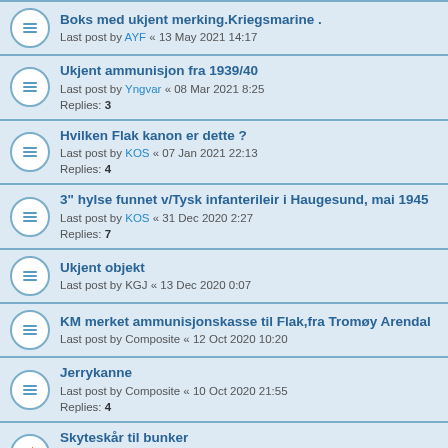Boks med ukjent merking.Kriegsmarine . Last post by AYF « 13 May 2021 14:17
Ukjent ammunisjon fra 1939/40 Last post by Yngvar « 08 Mar 2021 8:25 Replies: 3
Hvilken Flak kanon er dette ? Last post by KOS « 07 Jan 2021 22:13 Replies: 4
3" hylse funnet v/Tysk infanterileir i Haugesund, mai 1945 Last post by KOS « 31 Dec 2020 2:27 Replies: 7
Ukjent objekt Last post by KGJ « 13 Dec 2020 0:07
KM merket ammunisjonskasse til Flak,fra Tromøy Arendal Last post by Composite « 12 Oct 2020 10:20
Jerrykanne Last post by Composite « 10 Oct 2020 21:55 Replies: 4
Skyteskår til bunker Last post by Yngvar « 18 Aug 2020 17:03 Replies: 10
Del til optikk? Last post by ørjanvem « 12 Jul 2020 16:03
Optikk feste i kommandobunker. Last post by ørjanvem « 26 May 2020 23:16